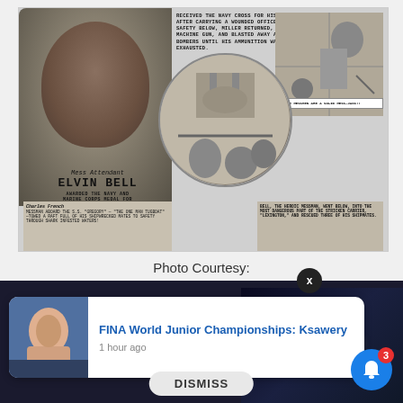[Figure (illustration): Black and white comic book style illustration featuring Mess Attendant Elvin Bell and Charles French, both awarded for heroism. Depicts portraits, action scenes, speech bubbles, and descriptive text about their Navy service and bravery.]
Photo Courtesy:
[Figure (screenshot): Web browser notification popup showing 'FINA World Junior Championships: Ksawery' posted 1 hour ago, with swimmer thumbnail image. Background shows AVICTOR branding. Bell notification icon with badge showing 3. Dismiss button visible. X close button visible.]